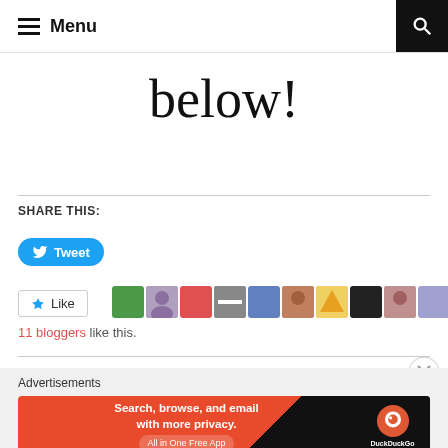Menu
below!
SHARE THIS:
[Figure (screenshot): Tweet button (blue rounded button with Twitter bird icon and 'Tweet' text)]
[Figure (screenshot): Like button with star icon, followed by 9 blogger avatars/thumbnails]
11 bloggers like this.
Advertisements
[Figure (screenshot): DuckDuckGo advertisement banner: 'Search, browse, and email with more privacy. All in One Free App' with DuckDuckGo logo on dark right panel]